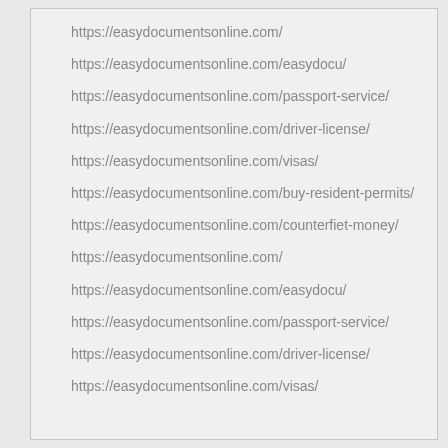https://easydocumentsonline.com/
https://easydocumentsonline.com/easydocu/
https://easydocumentsonline.com/passport-service/
https://easydocumentsonline.com/driver-license/
https://easydocumentsonline.com/visas/
https://easydocumentsonline.com/buy-resident-permits/
https://easydocumentsonline.com/counterfiet-money/
https://easydocumentsonline.com/
https://easydocumentsonline.com/easydocu/
https://easydocumentsonline.com/passport-service/
https://easydocumentsonline.com/driver-license/
https://easydocumentsonline.com/visas/